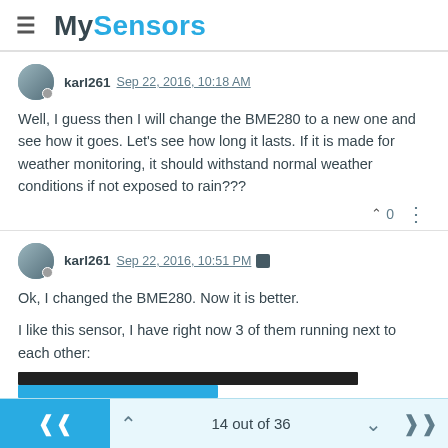MySensors
karl261  Sep 22, 2016, 10:18 AM
Well, I guess then I will change the BME280 to a new one and see how it goes. Let's see how long it lasts. If it is made for weather monitoring, it should withstand normal weather conditions if not exposed to rain???
0
karl261  Sep 22, 2016, 10:51 PM
Ok, I changed the BME280. Now it is better.

I like this sensor, I have right now 3 of them running next to each other:
14 out of 36